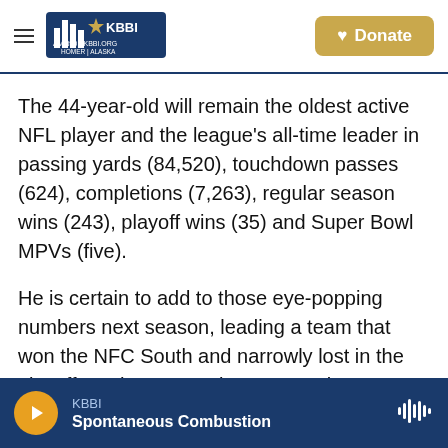KBBI AM 890 Homer Alaska | Donate
The 44-year-old will remain the oldest active NFL player and the league's all-time leader in passing yards (84,520), touchdown passes (624), completions (7,263), regular season wins (243), playoff wins (35) and Super Bowl MPVs (five).
He is certain to add to those eye-popping numbers next season, leading a team that won the NFC South and narrowly lost in the playoffs to the eventual Super Bowl champions the Los Angeles Rams.
Brady would announce his retirement days after
KBBI | Spontaneous Combustion